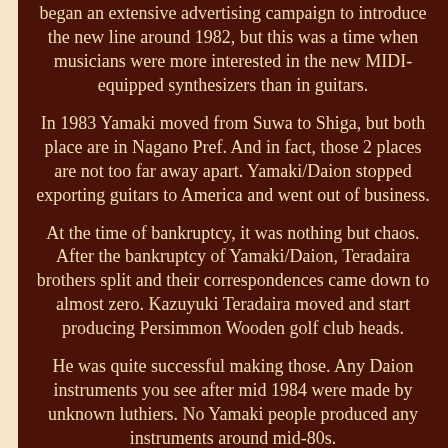began an extensive advertising campaign to introduce the new line around 1982, but this was a time when musicians were more interested in the new MIDI-equipped synthesizers than in guitars.
In 1983 Yamaki moved from Suwa to Shiga, but both place are in Nagano Pref. And in fact, those 2 places are not too far away apart. Yamaki/Daion stopped exporting guitars to America and went out of business.
At the time of bankruptcy, it was nothing but chaos. After the bankruptcy of Yamaki/Daion, Teradaira brothers split and their correspondences came down to almost zero. Kazuyuki Teradaira moved and start producing Persimmon Wooden golf club heads.
He was quite successful making those. Any Daion instruments you see after mid 1984 were made by unknown luthiers. No Yamaki people produced any instruments around mid-80s.
Real Value of Japanese Vintage Guitars. The key to